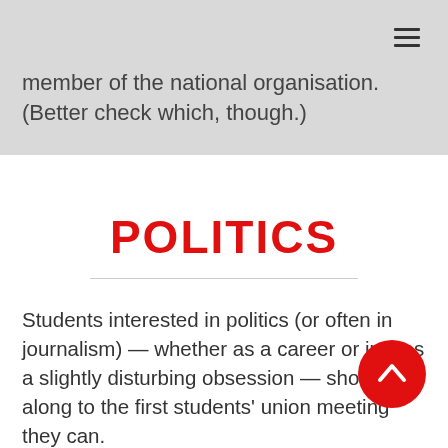member of the national organisation. (Better check which, though.)
POLITICS
Students interested in politics (or often in journalism) — whether as a career or just as a slightly disturbing obsession — should get along to the first students' union meeting they can.